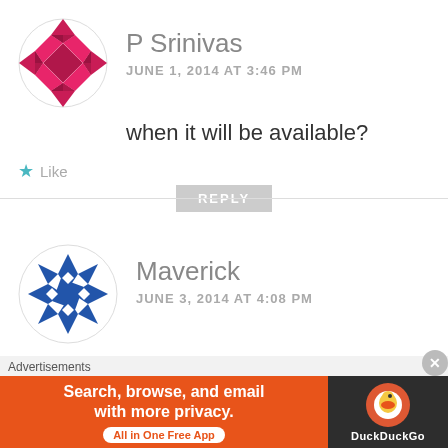[Figure (illustration): Geometric pink/dark-red diamond-pattern circular avatar for P Srinivas]
P Srinivas
JUNE 1, 2014 AT 3:46 PM
when it will be available?
★ Like
REPLY
[Figure (illustration): Blue geometric shuriken/star avatar for Maverick]
Maverick
JUNE 3, 2014 AT 4:08 PM
Are u Sure? that the stock will
Advertisements
[Figure (screenshot): DuckDuckGo advertisement banner: Search, browse, and email with more privacy. All in One Free App.]